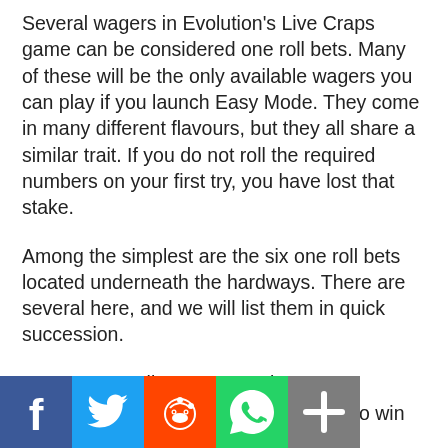Several wagers in Evolution's Live Craps game can be considered one roll bets. Many of these will be the only available wagers you can play if you launch Easy Mode. They come in many different flavours, but they all share a similar trait. If you do not roll the required numbers on your first try, you have lost that stake.
Among the simplest are the six one roll bets located underneath the hardways. There are several here, and we will list them in quick succession.
Seven – roll a seven to win.
Craps – roll a two, three, or twelve to win
[Figure (other): Social sharing bar with Facebook, Twitter, Reddit, WhatsApp, and Share buttons]